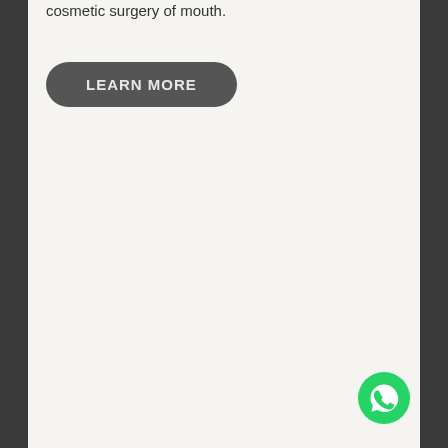cosmetic surgery of mouth.
LEARN MORE
[Figure (logo): WhatsApp icon — green circle with white phone handset]